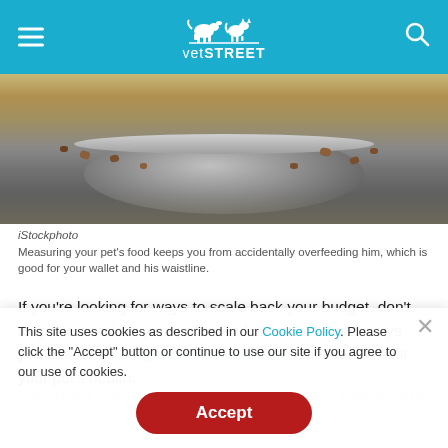vetSTREET
[Figure (photo): Close-up photo of a silver dog food bowl on a reflective surface with scattered kibble/food pieces around it]
iStockphoto
Measuring your pet's food keeps you from accidentally overfeeding him, which is good for your wallet and his waistline.
If you're looking for ways to scale back your budget, don't forget to consider your pet's needs.Here are some ways you can make budget-conscious choices that can benefit your pet's health.
Buy food that best suits your pet's age, health and activity level.
This site uses cookies as described in our Cookie Policy. Please click the "Accept" button or continue to use our site if you agree to our use of cookies.